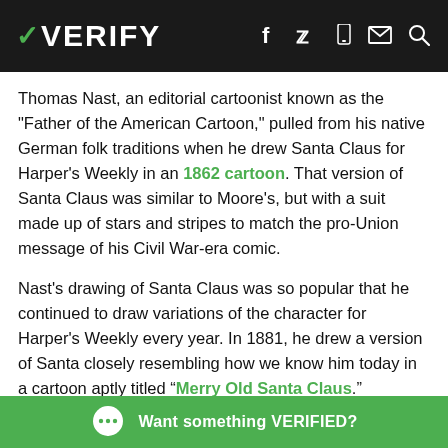VERIFY
Thomas Nast, an editorial cartoonist known as the "Father of the American Cartoon," pulled from his native German folk traditions when he drew Santa Claus for Harper's Weekly in an 1862 cartoon. That version of Santa Claus was similar to Moore's, but with a suit made up of stars and stripes to match the pro-Union message of his Civil War-era comic.
Nast's drawing of Santa Claus was so popular that he continued to draw variations of the character for Harper's Weekly every year. In 1881, he drew a version of Santa closely resembling how we know him today in a cartoon aptly titled “Merry Old Santa Claus.”
Nast's Santa
Want something VERIFIED?